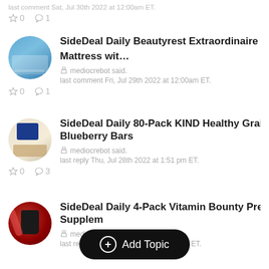last comment Sat, Jul 30th 2022 at 12:00am ET.
SideDeal Daily Beautyrest Extraordinaire 18 in Mattress wit... — mediocrebot said. — last comment Fri, Jul 29th 2022 at 12:00am ET. — ☆0 💬1
SideDeal Daily 80-Pack KIND Healthy Grain Blueberry Bars — mediocrebot said. — last reply Thu, Jul 28th 2022 at 1:51 pm ET. — ☆0 💬3
SideDeal Daily 4-Pack Vitamin Bounty Pre-Wo Supplem... — mediocrebot said. — last reply Wed, Jul 27th 2022 at 8:31 am ET.
+ Add Topic